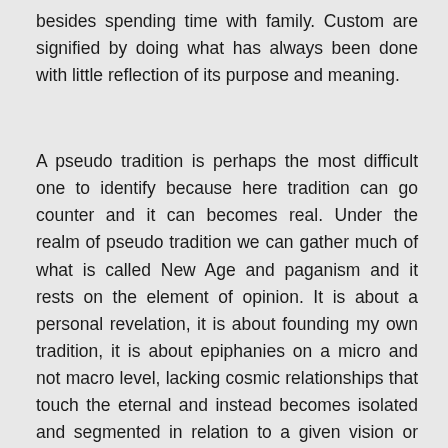besides spending time with family. Custom are signified by doing what has always been done with little reflection of its purpose and meaning.
A pseudo tradition is perhaps the most difficult one to identify because here tradition can go counter and it can becomes real. Under the realm of pseudo tradition we can gather much of what is called New Age and paganism and it rests on the element of opinion. It is about a personal revelation, it is about founding my own tradition, it is about epiphanies on a micro and not macro level, lacking cosmic relationships that touch the eternal and instead becomes isolated and segmented in relation to a given vision or mission. Since The Roman Catholic Church can be considered to be traditional, a good example of a pseudo tradition would be the Pentecostal movement (and in this